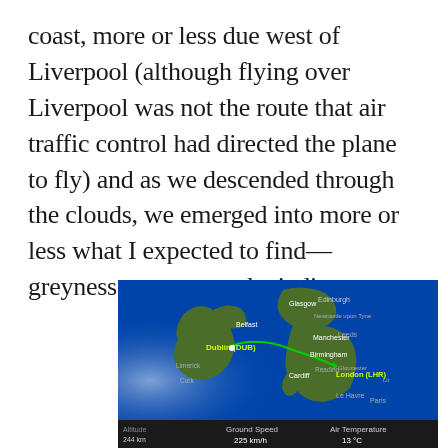coast, more or less due west of Liverpool (although flying over Liverpool was not the route that air traffic control had directed the plane to fly) and as we descended through the clouds, we emerged into more or less what I expected to find—greyness, wetness and windiness.
[Figure (map): In-flight map screen showing route from Dublin (DUB) to London (LHR) over the UK and Ireland. Green route line visible. Ground Speed: 225 km/h, Air Temperature: 13°C, Altitude visible at bottom left. Cities labeled include Glasgow, Edinburgh, Newcastle upon Tyne, Belfast, Manchester, Leeds, Dublin (DUB), Birmingham, Limerick, Cork, Cardiff, Reading, London (LHR), Le Havre, Paris.]